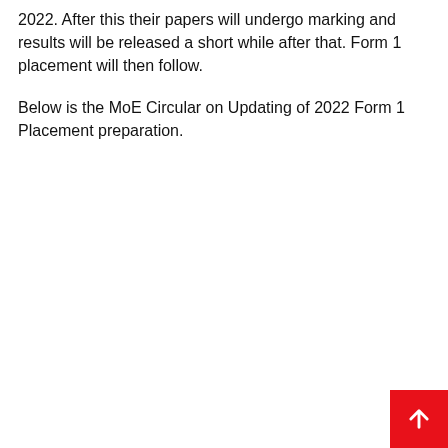2022. After this their papers will undergo marking and results will be released a short while after that. Form 1 placement will then follow.
Below is the MoE Circular on Updating of 2022 Form 1 Placement preparation.